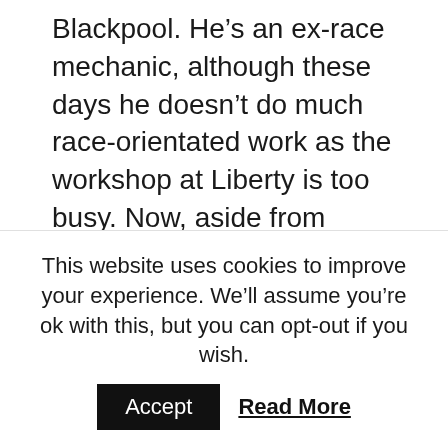Blackpool. He's an ex-race mechanic, although these days he doesn't do much race-orientated work as the workshop at Liberty is too busy. Now, aside from retailing new and second-hand production bikes, he is also one of the enlightened; he builds custom bikes.
Rather than use a bike that he's very much used to stripping and rebuilding (either in a maintenance programme or due to race development and/or damage repair), such as one of BMW's S1000RR race rep missiles, he chose a more proletariat product of
This website uses cookies to improve your experience. We'll assume you're ok with this, but you can opt-out if you wish.
Accept  Read More